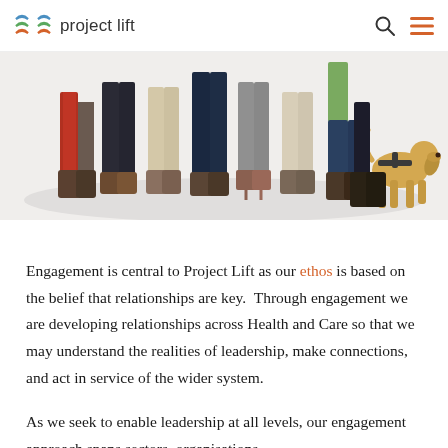project lift
[Figure (photo): Cropped image showing the legs and feet of a diverse group of people standing together, including a guide dog on the right side. The background is a light grey/white space.]
Engagement is central to Project Lift as our ethos is based on the belief that relationships are key.  Through engagement we are developing relationships across Health and Care so that we may understand the realities of leadership, make connections, and act in service of the wider system.
As we seek to enable leadership at all levels, our engagement approach spans sectors, organisations,